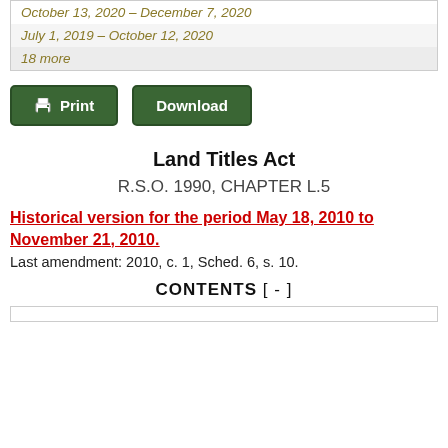| October 13, 2020 – December 7, 2020 |
| July 1, 2019 – October 12, 2020 |
| 18 more |
Print | Download
Land Titles Act
R.S.O. 1990, CHAPTER L.5
Historical version for the period May 18, 2010 to November 21, 2010.
Last amendment: 2010, c. 1, Sched. 6, s. 10.
CONTENTS [ - ]